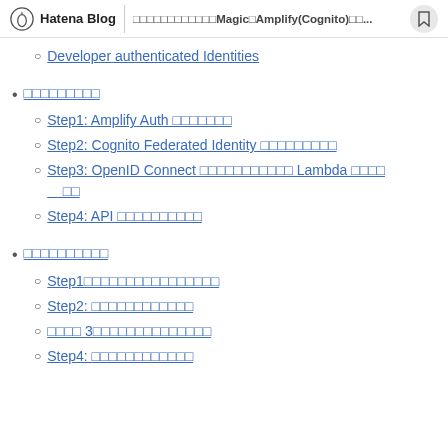Hatena Blog | □□□□□□□□□□□□Magic□Amplify(Cognito)□□...
Developer authenticated Identities
□□□□□□□□□
Step1: Amplify Auth □□□□□□□
Step2: Cognito Federated Identity □□□□□□□□□
Step3: OpenID Connect □□□□□□□□□□□ Lambda □□□□□□
Step4: API □□□□□□□□□□
□□□□□□□□□□
Step1□□□□□□□□□□□□□□□□
Step2: □□□□□□□□□□□□
□□□□ 3□□□□□□□□□□□□□□
Step4: □□□□□□□□□□□□